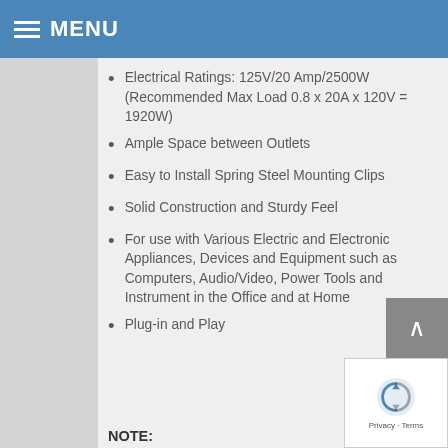MENU
Electrical Ratings: 125V/20 Amp/2500W (Recommended Max Load 0.8 x 20A x 120V = 1920W)
Ample Space between Outlets
Easy to Install Spring Steel Mounting Clips
Solid Construction and Sturdy Feel
For use with Various Electric and Electronic Appliances, Devices and Equipment such as Computers, Audio/Video, Power Tools and Instrument in the Office and at Home
Plug-in and Play
NOTE: